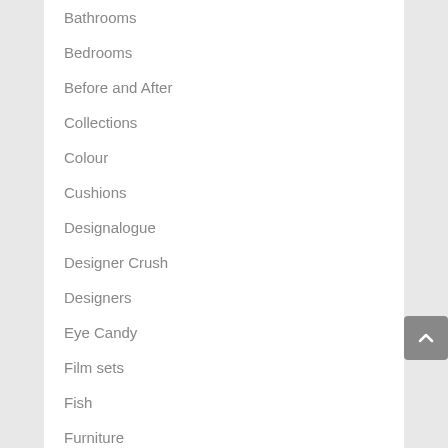Bathrooms
Bedrooms
Before and After
Collections
Colour
Cushions
Designalogue
Designer Crush
Designers
Eye Candy
Film sets
Fish
Furniture
Hotels